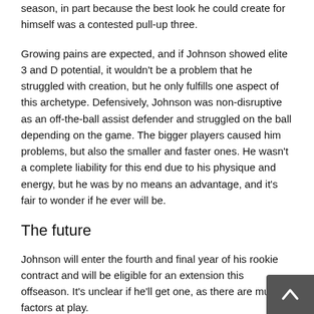season, in part because the best look he could create for himself was a contested pull-up three.
Growing pains are expected, and if Johnson showed elite 3 and D potential, it wouldn't be a problem that he struggled with creation, but he only fulfills one aspect of this archetype. Defensively, Johnson was non-disruptive as an off-the-ball assist defender and struggled on the ball depending on the game. The bigger players caused him problems, but also the smaller and faster ones. He wasn't a complete liability for this end due to his physique and energy, but he was by no means an advantage, and it's fair to wonder if he ever will be.
The future
Johnson will enter the fourth and final year of his rookie contract and will be eligible for an extension this offseason. It's unclear if he'll get one, as there are multiple factors at play.